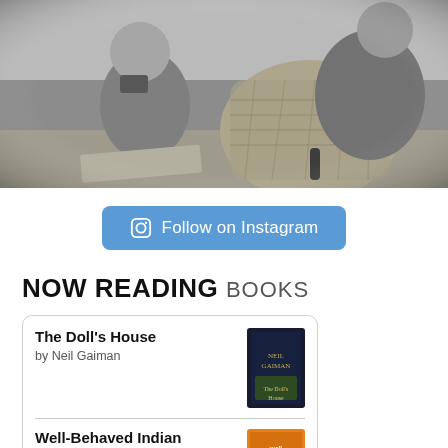[Figure (photo): Black and white photograph of two people at a beach, one holding a camera, with a large wicker basket/chair visible]
Follow on Instagram
NOW READING BOOKS
The Doll's House
by Neil Gaiman
Well-Behaved Indian